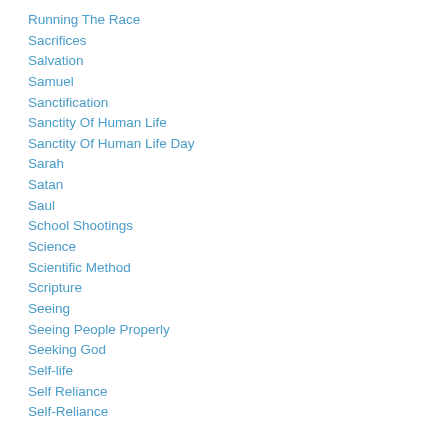Running The Race
Sacrifices
Salvation
Samuel
Sanctification
Sanctity Of Human Life
Sanctity Of Human Life Day
Sarah
Satan
Saul
School Shootings
Science
Scientific Method
Scripture
Seeing
Seeing People Properly
Seeking God
Self-life
Self Reliance
Self-Reliance